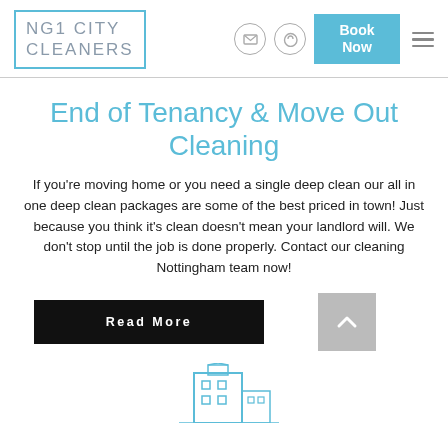NG1 CITY CLEANERS
End of Tenancy & Move Out Cleaning
If you're moving home or you need a single deep clean our all in one deep clean packages are some of the best priced in town! Just because you think it's clean doesn't mean your landlord will. We don't stop until the job is done properly. Contact our cleaning Nottingham team now!
[Figure (screenshot): Black 'Read More' button and grey scroll-to-top button with up arrow]
[Figure (illustration): Blue line icon of a building/apartment block at the bottom of the page]